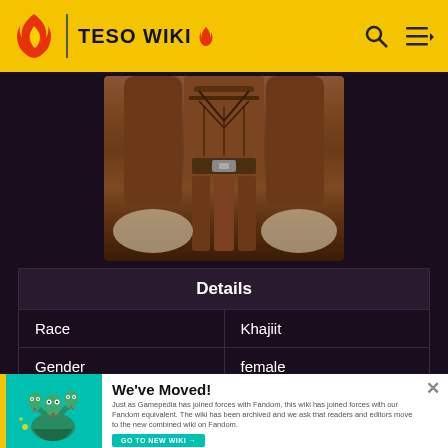TESO WIKI
[Figure (photo): Close-up of a game character's torso and lower body showing leather armor with straps and buckles, arms visible on sides]
| Details |
| --- |
| Race | Khajiit |
| Gender | female |
We've Moved!
Just as Gamepedia has joined forces with Fandom, this wiki has joined forces with our Fandom equivalent. The wiki has been archived and we ask that readers and editors move to the new combined wiki on Fandom.
GO TO NEW WIKI →